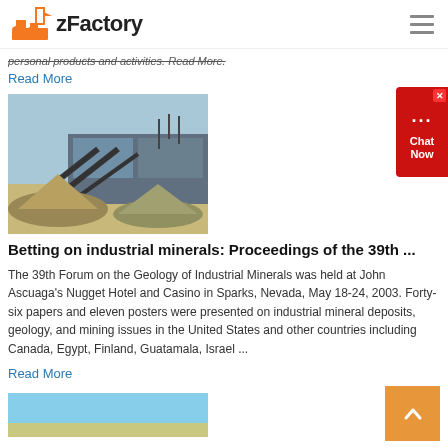zFactory
personal products and activities. Read More.
Read More
[Figure (photo): Industrial mineral processing facility with conveyor belts and aggregate piles in front of a large warehouse building.]
Betting on industrial minerals: Proceedings of the 39th ...
The 39th Forum on the Geology of Industrial Minerals was held at John Ascuaga's Nugget Hotel and Casino in Sparks, Nevada, May 18-24, 2003. Forty-six papers and eleven posters were presented on industrial mineral deposits, geology, and mining issues in the United States and other countries including Canada, Egypt, Finland, Guatamala, Israel ...
Read More
[Figure (photo): Partially visible photo at the bottom of the page showing a blue sky scene.]